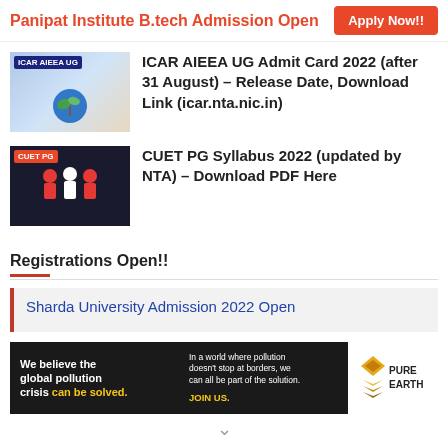Panipat Institute B.tech Admission Open  Apply Now!!
[Figure (photo): ICAR AIEEA UG thumbnail with blue plant icon on gradient background]
ICAR AIEEA UG Admit Card 2022 (after 31 August) – Release Date, Download Link (icar.nta.nic.in)
[Figure (photo): CUET PG thumbnail showing cartoon students on dark background]
CUET PG Syllabus 2022 (updated by NTA) – Download PDF Here
Registrations Open!!
Sharda University Admission 2022 Open
[Figure (infographic): Pure Earth ad: We believe the global pollution crisis can be solved. In a world where pollution doesn't stop at borders, we can all be part of the solution. JOIN US.]